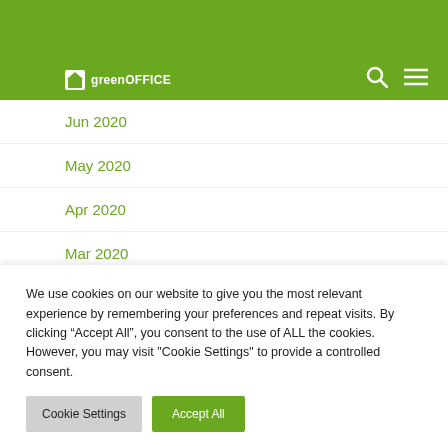greenOFFICE
Jun 2020
May 2020
Apr 2020
Mar 2020
Feb 2020
We use cookies on our website to give you the most relevant experience by remembering your preferences and repeat visits. By clicking “Accept All”, you consent to the use of ALL the cookies. However, you may visit "Cookie Settings" to provide a controlled consent.